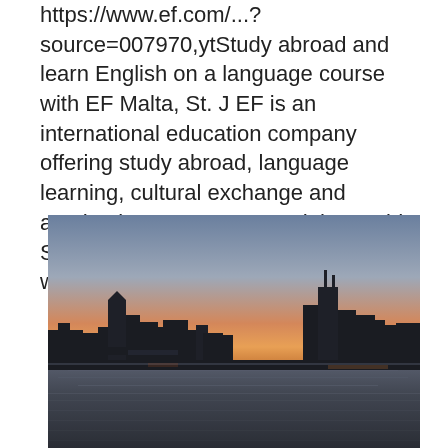https://www.ef.com/...?source=007970,ytStudy abroad and learn English on a language course with EF Malta, St. J EF is an international education company offering study abroad, language learning, cultural exchange and academic programs around the world. Since 1965, EF has been opening the world through education.
[Figure (photo): City skyline silhouette at dusk/sunset with water reflection in the foreground, likely Chicago skyline viewed from Lake Michigan.]